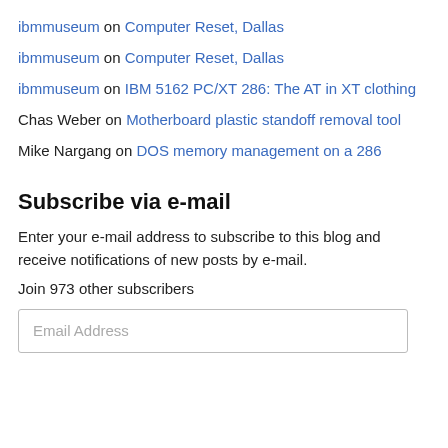ibmmuseum on Computer Reset, Dallas
ibmmuseum on Computer Reset, Dallas
ibmmuseum on IBM 5162 PC/XT 286: The AT in XT clothing
Chas Weber on Motherboard plastic standoff removal tool
Mike Nargang on DOS memory management on a 286
Subscribe via e-mail
Enter your e-mail address to subscribe to this blog and receive notifications of new posts by e-mail.
Join 973 other subscribers
Email Address